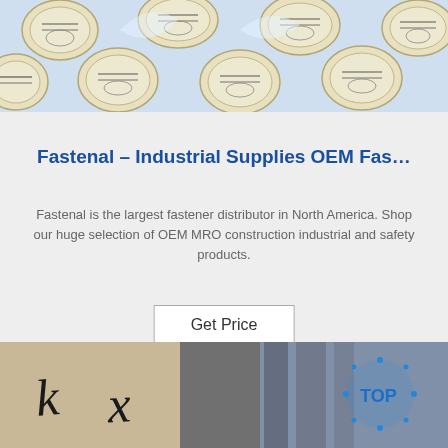[Figure (photo): Photo of round labeled stickers/discs arranged on a light blue surface, viewed from above at an angle]
Fastenal – Industrial Supplies OEM Fas…
Fastenal is the largest fastener distributor in North America. Shop our huge selection of OEM MRO construction industrial and safety products.
Get Price
[Figure (photo): Photo of packages/boxes with handwritten 'k' and 'x' characters visible, in a storage or warehouse setting. Blue circular 'TOP' badge/watermark overlay in lower right.]